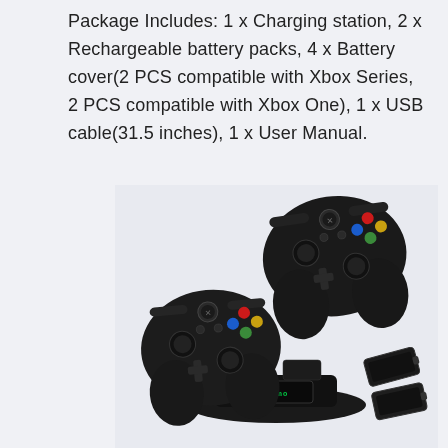Package Includes: 1 x Charging station, 2 x Rechargeable battery packs, 4 x Battery cover(2 PCS compatible with Xbox Series, 2 PCS compatible with Xbox One), 1 x USB cable(31.5 inches), 1 x User Manual.
[Figure (photo): Product photo showing two black Xbox controllers mounted on a dual charging station (branded 'mimo'), with two black rechargeable battery packs shown separately in the lower right corner. The controllers are shown at an angle, both featuring the Xbox logo, analog sticks, D-pad, and colored ABXY buttons.]